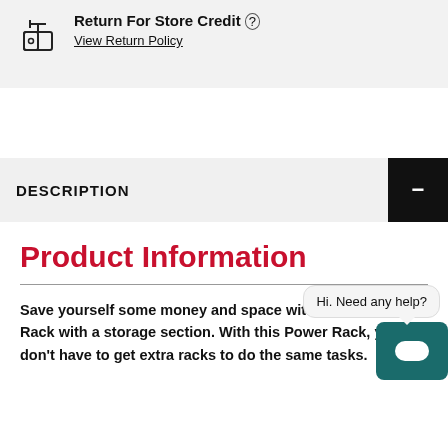Return For Store Credit (?) View Return Policy
DESCRIPTION
Product Information
Save yourself some money and space with this Power Rack with a storage section. With this Power Rack, you don't have to get extra racks to do the same tasks.